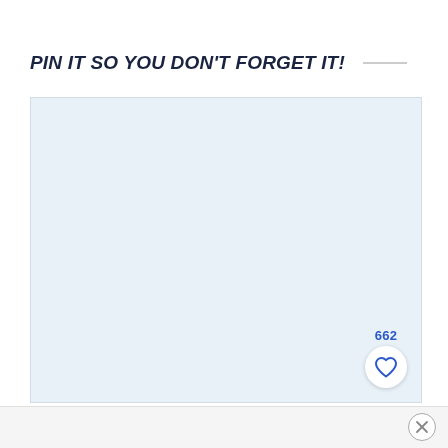PIN IT SO YOU DON'T FORGET IT!
[Figure (other): Large light blue rectangular placeholder image area with a like/heart button showing 662 likes in the bottom right corner]
[Figure (other): Small circular close/X button in the bottom right corner of the page]